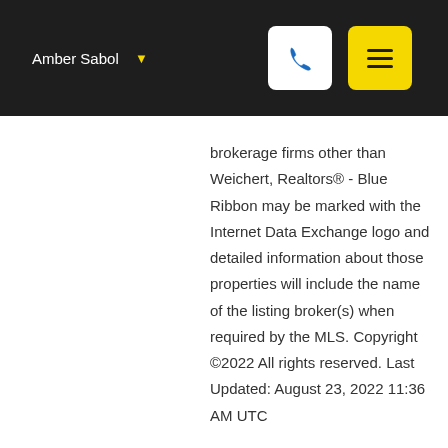Amber Sabol
brokerage firms other than Weichert, Realtors® - Blue Ribbon may be marked with the Internet Data Exchange logo and detailed information about those properties will include the name of the listing broker(s) when required by the MLS. Copyright ©2022 All rights reserved. Last Updated: August 23, 2022 11:36 AM UTC